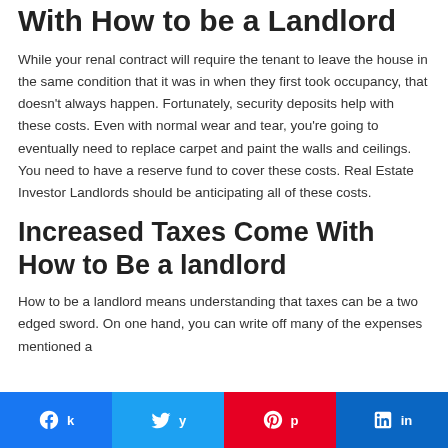With How to be a Landlord
While your renal contract will require the tenant to leave the house in the same condition that it was in when they first took occupancy, that doesn't always happen. Fortunately, security deposits help with these costs. Even with normal wear and tear, you're going to eventually need to replace carpet and paint the walls and ceilings. You need to have a reserve fund to cover these costs. Real Estate Investor Landlords should be anticipating all of these costs.
Increased Taxes Come With How to Be a landlord
How to be a landlord means understanding that taxes can be a two edged sword. On one hand, you can write off many of the expenses mentioned a…